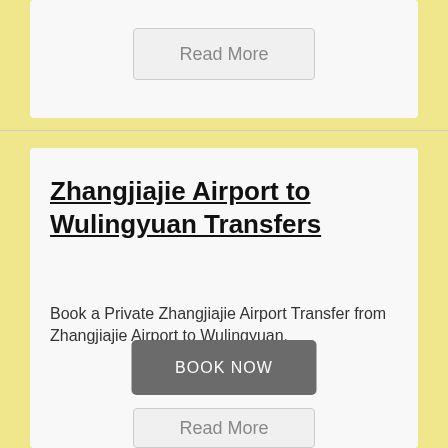Read More
Zhangjiajie Airport to Wulingyuan Transfers
Book a Private Zhangjiajie Airport Transfer from Zhangjiajie Airport to Wulingyuan.
BOOK NOW
Read More